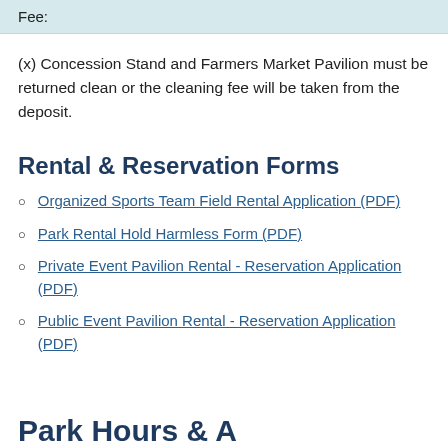Fee:
(x) Concession Stand and Farmers Market Pavilion must be returned clean or the cleaning fee will be taken from the deposit.
Rental & Reservation Forms
Organized Sports Team Field Rental Application (PDF)
Park Rental Hold Harmless Form (PDF)
Private Event Pavilion Rental - Reservation Application (PDF)
Public Event Pavilion Rental - Reservation Application (PDF)
Park Hours & A...